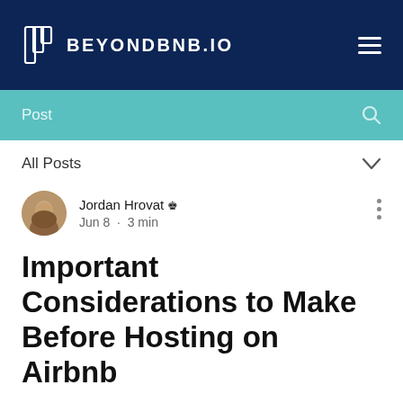BEYONDBNB.IO
Post
All Posts
Jordan Hrovat  Admin
Jun 8 · 3 min
Important Considerations to Make Before Hosting on Airbnb
If you are thinking about putting your property up for rent on Airbnb, this is a